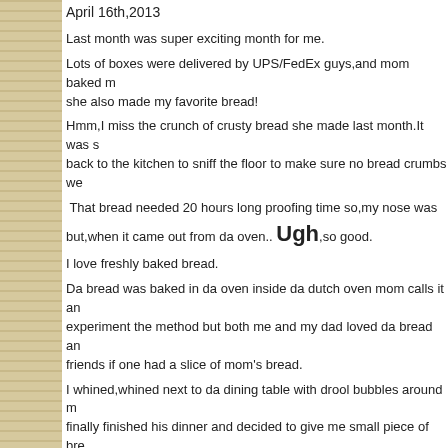April 16th,2013
Last month was super exciting month for me.
Lots of boxes were delivered by UPS/FedEx guys,and mom baked m... she also made my favorite bread!
Hmm,I miss the crunch of crusty bread she made last month.It was s... back to the kitchen to sniff the floor to make sure no bread crumbs we...
That bread needed 20 hours long proofing time so,my nose was... but,when it came out from da oven.. Ugh,so good.
I love freshly baked bread.
Da bread was baked in da oven inside da dutch oven mom calls it an... experiment the method but both me and my dad loved da bread an... friends if one had a slice of mom's bread.
I whined,whined next to da dining table with drool bubbles around m... finally finished his dinner and decided to give me small piece of br... catch it in da air.
Hmm,it was soo good! I chewed to enjoy da every bite of it.
After a couple of days later, when mom still had leftover 20 hour c... decided to make bruschetta.